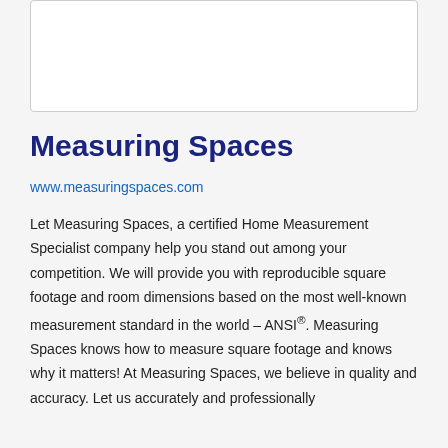[Figure (other): White rectangular image placeholder with light grey border]
Measuring Spaces
www.measuringspaces.com
Let Measuring Spaces, a certified Home Measurement Specialist company help you stand out among your competition. We will provide you with reproducible square footage and room dimensions based on the most well-known measurement standard in the world – ANSI®. Measuring Spaces knows how to measure square footage and knows why it matters! At Measuring Spaces, we believe in quality and accuracy. Let us accurately and professionally